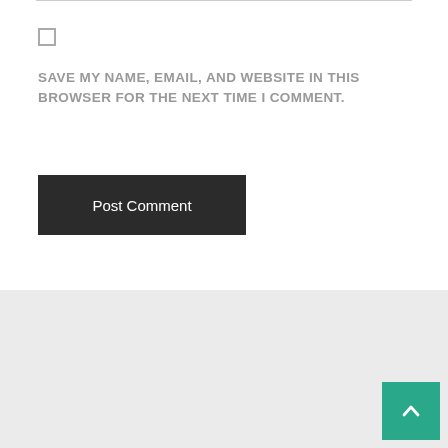SAVE MY NAME, EMAIL, AND WEBSITE IN THIS BROWSER FOR THE NEXT TIME I COMMENT.
Post Comment
[Figure (other): Teal/green scroll-to-top button with upward chevron arrow in bottom-right corner]